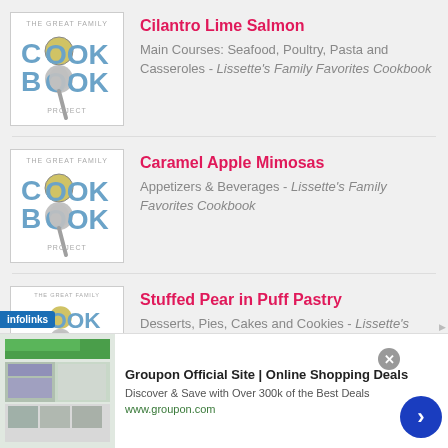[Figure (illustration): The Great Family Cook Book Project logo — blue letters COOKBOOK with a ladle/spoon graphic, speckled gold circles for the O's, text 'THE GREAT FAMILY' at top and 'PROJECT' at bottom]
Cilantro Lime Salmon
Main Courses: Seafood, Poultry, Pasta and Casseroles - Lissette's Family Favorites Cookbook
[Figure (illustration): The Great Family Cook Book Project logo — blue letters COOKBOOK with a ladle/spoon graphic, speckled gold circles for the O's, text 'THE GREAT FAMILY' at top and 'PROJECT' at bottom]
Caramel Apple Mimosas
Appetizers & Beverages - Lissette's Family Favorites Cookbook
[Figure (illustration): The Great Family Cook Book Project logo — blue letters COOKBOOK with a ladle/spoon graphic, speckled gold circles for the O's, text 'THE GREAT FAMILY' at top and 'PROJECT' at bottom]
Stuffed Pear in Puff Pastry
Desserts, Pies, Cakes and Cookies - Lissette's Family Favorites Cookbook
[Figure (screenshot): Groupon advertisement banner with website screenshot thumbnail, title 'Groupon Official Site | Online Shopping Deals', description 'Discover & Save with Over 300k of the Best Deals', URL www.groupon.com, blue circular arrow button]